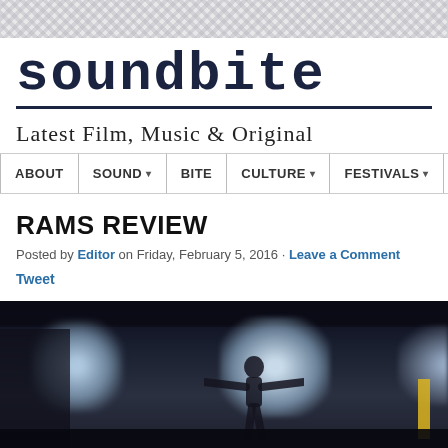[Figure (other): Decorative geometric pattern banner at top of page]
soundbite
Latest Film, Music & Original
ABOUT | SOUND ▾ | BITE | CULTURE ▾ | FESTIVALS ▾ | INTERVI...
RAMS REVIEW
Posted by Editor on Friday, February 5, 2016 · Leave a Comment
Tweet
[Figure (photo): Dark moody film still showing a silhouetted figure with arms outstretched in a dimly lit barn or warehouse interior, with bright windows in the background]